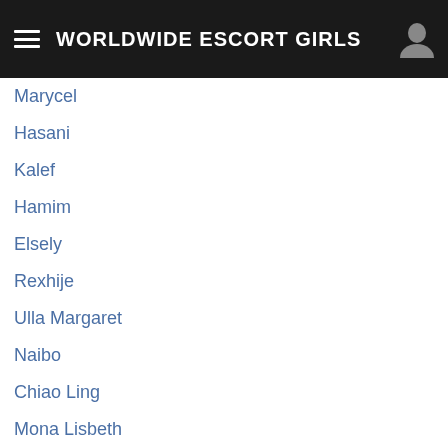WORLDWIDE ESCORT GIRLS
Marycel
Hasani
Kalef
Hamim
Elsely
Rexhije
Ulla Margaret
Naibo
Chiao Ling
Mona Lisbeth
Rakaja
Evaldina
Mayeni
Plerntip
Rix
Belletransex
Aylea
Kalmah
Caley
Jenneth
Sureyo
Li Min